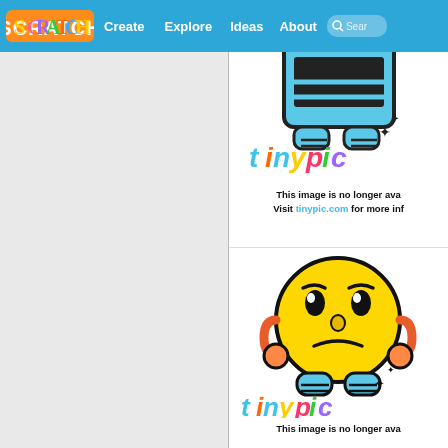[Figure (screenshot): Scratch website navigation bar with logo and menu items: Create, Explore, Ideas, About, and search box on blue background]
[Figure (screenshot): Tinypic broken image placeholder showing sad emoji face with 'tinypic' logo text and message: This image is no longer available. Visit tinypic.com for more info]
[Figure (screenshot): Second Tinypic broken image placeholder showing sad emoji face with 'tinypic' logo text and partial message: This image is no longer available]